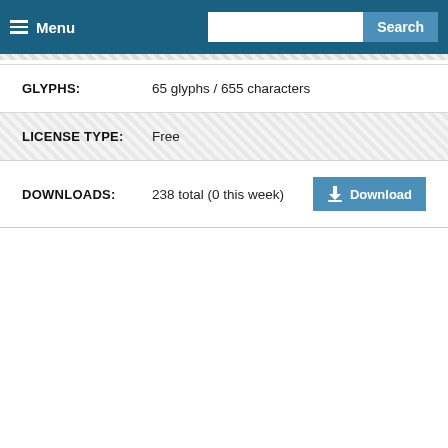Menu | Search
GLYPHS: 65 glyphs / 655 characters
LICENSE TYPE: Free
DOWNLOADS: 238 total (0 this week)